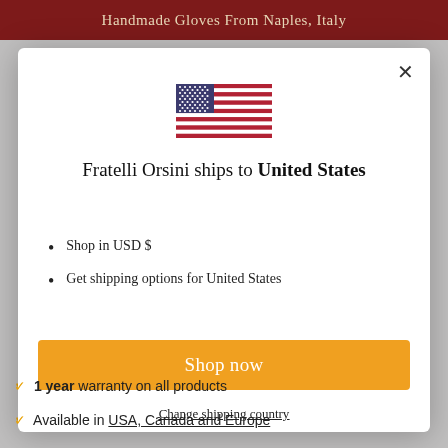Handmade Gloves From Naples, Italy
[Figure (illustration): US flag SVG illustration shown in modal dialog]
Fratelli Orsini ships to United States
Shop in USD $
Get shipping options for United States
Shop now
Change shipping country
✓ 1 year warranty on all products
✓ Available in USA, Canada and Europe